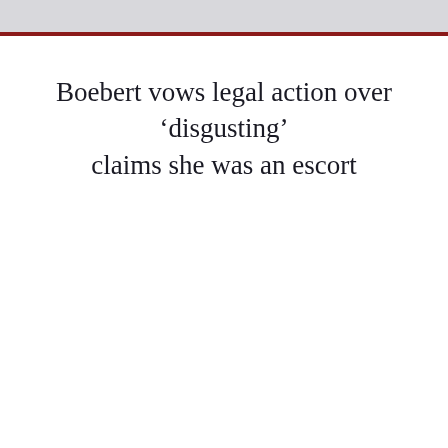Boebert vows legal action over ‘disgusting’ claims she was an escort